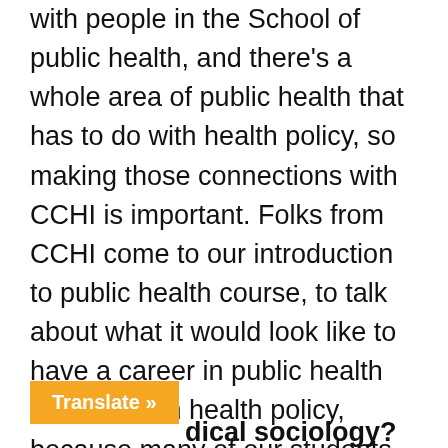with people in the School of public health, and there's a whole area of public health that has to do with health policy, so making those connections with CCHI is important. Folks from CCHI come to our introduction to public health course, to talk about what it would look like to have a career in public health that works in health policy, because many of our students are not really aware of that. That's another piece that's really exciting, to see students get really excited about health policy. Sometimes that's because they've either been to the Health Care Day of Action, or heard from folks at CCHI.
Translate »
dical sociology?